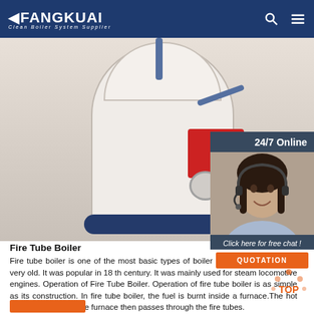FANGKUAI — Clean Boiler System Supplier
[Figure (photo): Photo of a vertical fire tube boiler, white cylindrical body with red and blue components, hoses and fittings visible]
[Figure (photo): 24/7 Online customer service panel with smiling woman wearing headset, 'Click here for free chat!' text and orange QUOTATION button]
Fire Tube Boiler
Fire tube boiler is one of the most basic types of boiler and the design is also very old. It was popular in 18 th century. It was mainly used for steam locomotive engines. Operation of Fire Tube Boiler. Operation of fire tube boiler is as simple as its construction. In fire tube boiler, the fuel is burnt inside a furnace.The hot gases produced in the furnace then passes through the fire tubes.